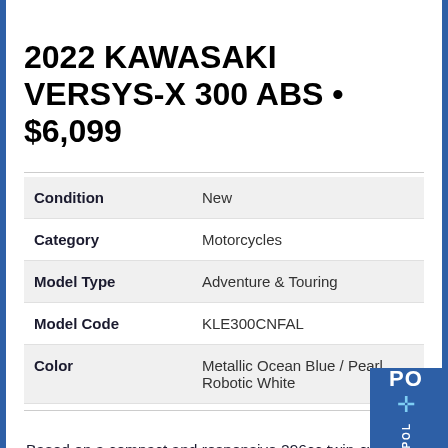2022 KAWASAKI VERSYS-X 300 ABS • $6,099
| Field | Value |
| --- | --- |
| Condition | New |
| Category | Motorcycles |
| Model Type | Adventure & Touring |
| Model Code | KLE300CNFAL |
| Color | Metallic Ocean Blue / Pearl Robotic White |
Based on a compact and responsive 296cc twin-cylinder engine, the Kawasaki Versys®-X 300 ABS nimble-handling lightweight motorcycle that's ready to take on any size adventure. Whether you're